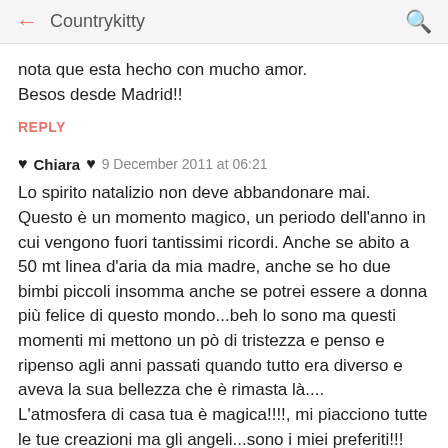← Countrykitty 🔍
nota que esta hecho con mucho amor. Besos desde Madrid!!
REPLY
♥ Chiara ♥  9 December 2011 at 06:21
Lo spirito natalizio non deve abbandonare mai. Questo è un momento magico, un periodo dell'anno in cui vengono fuori tantissimi ricordi. Anche se abito a 50 mt linea d'aria da mia madre, anche se ho due bimbi piccoli insomma anche se potrei essere a donna più felice di questo mondo...beh lo sono ma questi momenti mi mettono un pò di tristezza e penso e ripenso agli anni passati quando tutto era diverso e aveva la sua bellezza che è rimasta là.... L'atmosfera di casa tua è magica!!!!, mi piacciono tutte le tue creazioni ma gli angeli...sono i miei preferiti!!! Brava Fede NON MOLLAREEEEEEE!!!